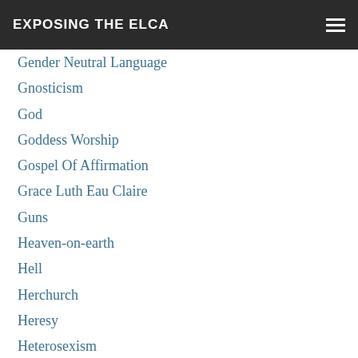EXPOSING THE ELCA
Gay Marriage
Gender Neutral Language
Gnosticism
God
Goddess Worship
Gospel Of Affirmation
Grace Luth Eau Claire
Guns
Heaven-on-earth
Hell
Herchurch
Heresy
Heterosexism
Holy Spirit
Homosexuality
ICE
Ilhan Omar
Illegal Immigration